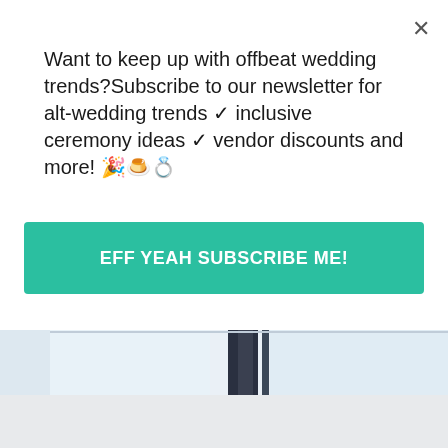Want to keep up with offbeat wedding trends?Subscribe to our newsletter for​alt-wedding trends ✓ inclusive ceremony ideas ✓ vendor discounts and more! 🎉🍰💍
[Figure (other): Green teal rounded rectangle button with white bold uppercase text reading 'EFF YEAH SUBSCRIBE ME!']
[Figure (photo): Partial view of a wedding or event venue photo with light blue/white tones and dark vertical structural elements, partially obscured by popup overlay]